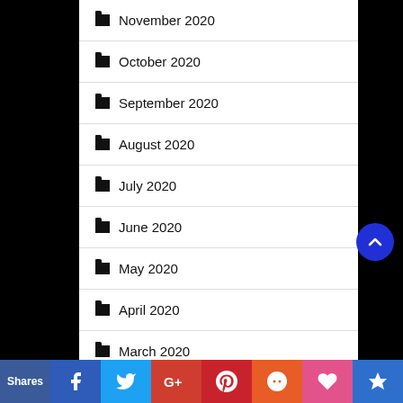November 2020
October 2020
September 2020
August 2020
July 2020
June 2020
May 2020
April 2020
March 2020
Shares | Facebook | Twitter | Google+ | Pinterest | Reddit | Heart | Crown